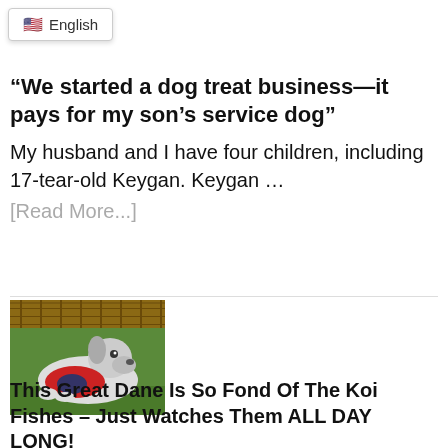[Figure (screenshot): Language selector dropdown showing US flag emoji and 'English' text]
“We started a dog treat business—it pays for my son’s service dog”
My husband and I have four children, including 17-tear-old Keygan. Keygan …
[Read More...]
[Figure (photo): A dog wearing a red and blue outfit lying on grass in front of a wooden fence, looking upward]
This Great Dane Is So Fond Of The Koi Fishes – Just Watches Them ALL DAY LONG!